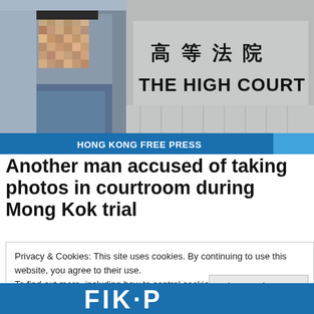[Figure (photo): Composite image: left side shows a man with pixelated/blurred face wearing a blue shirt; right side shows the sign for The High Court with Chinese characters 高等法院 above and THE HIGH COURT below. A blue bar at the bottom reads HONG KONG FREE PRESS.]
Another man accused of taking photos in courtroom during Mong Kok trial
Privacy & Cookies: This site uses cookies. By continuing to use this website, you agree to their use.
To find out more, including how to control cookies, see here: Cookie Policy
Close and accept
[Figure (logo): Hong Kong Free Press logo partial, white text on blue background at bottom of page]